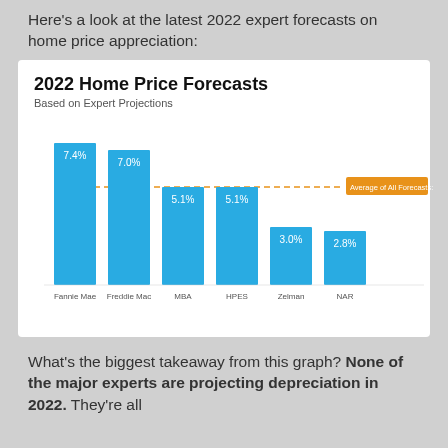Here's a look at the latest 2022 expert forecasts on home price appreciation:
[Figure (bar-chart): 2022 Home Price Forecasts]
What's the biggest takeaway from this graph? None of the major experts are projecting depreciation in 2022. They're all